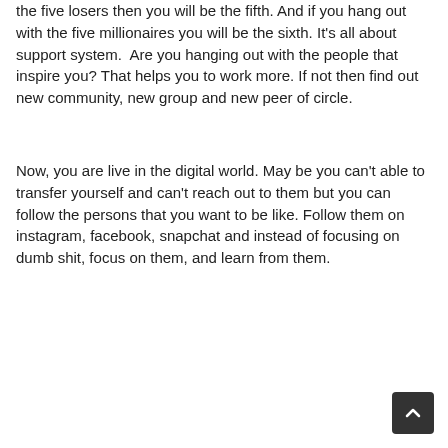the five losers then you will be the fifth. And if you hang out with the five millionaires you will be the sixth. It's all about support system.  Are you hanging out with the people that inspire you? That helps you to work more. If not then find out new community, new group and new peer of circle.
Now, you are live in the digital world. May be you can't able to transfer yourself and can't reach out to them but you can follow the persons that you want to be like. Follow them on instagram, facebook, snapchat and instead of focusing on dumb shit, focus on them, and learn from them.